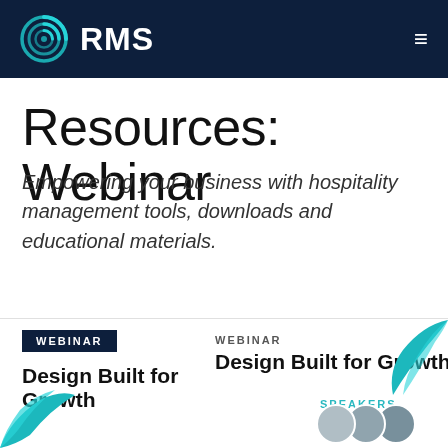RMS
Resources: Webinar
Empowering your business with hospitality management tools, downloads and educational materials.
[Figure (infographic): Webinar card with dark navy WEBINAR badge, title 'Design Built for Growth', WEBINAR label, SPEAKERS label, teal swoosh decorative elements, and speaker avatar circles at bottom.]